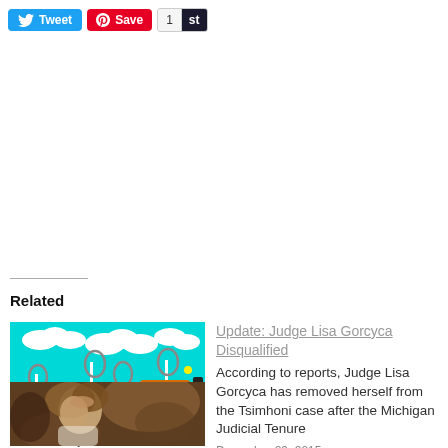[Figure (other): Social sharing buttons: Tweet (blue), Save/Pinterest (red), and a count button showing 1 with 'st' label]
Related
[Figure (screenshot): Colorful video game screenshot with cyan background, clouds, platforms, and rings — thumbnail for 'The Custody Game']
The Custody Game
September 7, 2015
In "Abuse"
Update: Judge Lisa Gorcyca Disqualified
According to reports, Judge Lisa Gorcyca has removed herself from the Tsimhoni case after the Michigan Judicial Tenure
December 29, 2015
In "Abuse"
[Figure (photo): Photo of a woman with her hand on her forehead, appearing stressed or distressed, in warm dim lighting]